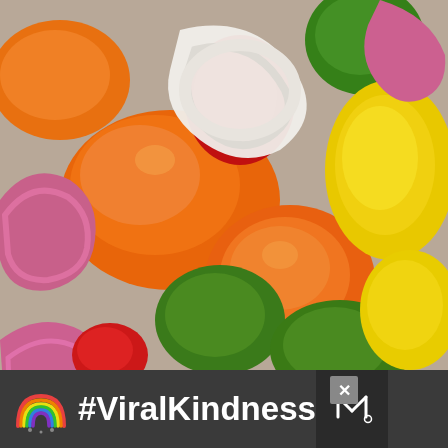[Figure (photo): Close-up photograph of colorful chopped vegetables including orange, red, green, and yellow bell peppers, red onion rings (purple), and white onion pieces, arranged in a vibrant mix on a surface.]
#ViralKindness